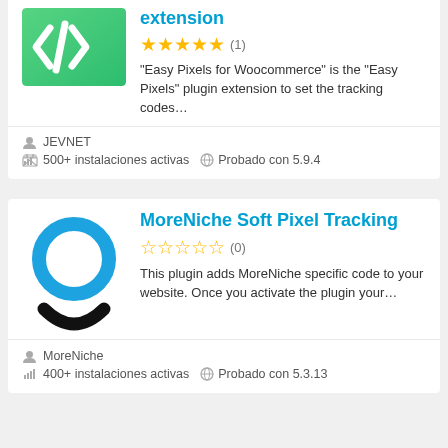[Figure (screenshot): Green coding plugin icon with </> code symbol]
extension
★★★★★ (1)
"Easy Pixels for Woocommerce" is the "Easy Pixels" plugin extension to set the tracking codes…
JEVNET
500+ instalaciones activas  Probado con 5.9.4
MoreNiche Soft Pixel Tracking
☆☆☆☆☆ (0)
This plugin adds MoreNiche specific code to your website. Once you activate the plugin your…
[Figure (logo): MoreNiche logo - blue circle/ring with black curved smile shape]
MoreNiche
400+ instalaciones activas  Probado con 5.3.13